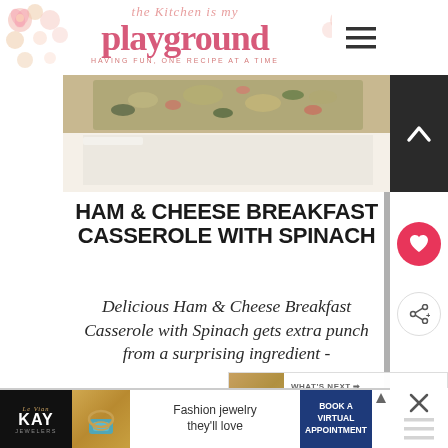[Figure (logo): The Kitchen is my Playground blog logo with pink script text and decorative floral elements]
[Figure (photo): Close-up photo of Ham & Cheese Breakfast Casserole with Spinach in a white baking dish]
HAM & CHEESE BREAKFAST CASSEROLE WITH SPINACH
Delicious Ham & Cheese Breakfast Casserole with Spinach gets extra punch from a surprising ingredient -
[Figure (infographic): What's Next panel showing Ham Broccoli & Cauliflowe... thumbnail]
[Figure (photo): Le Vian KAY Jewelers advertisement banner with fashion jewelry ring photo and Book a Virtual Appointment CTA]